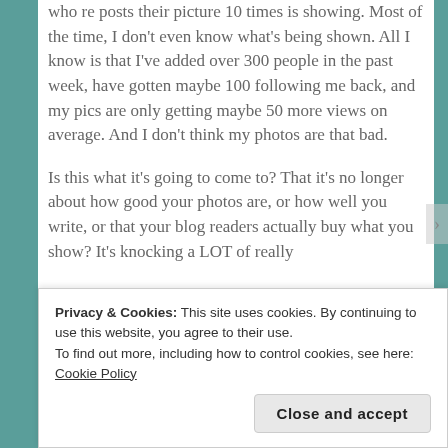who re posts their picture 10 times is showing. Most of the time, I don't even know what's being shown. All I know is that I've added over 300 people in the past week, have gotten maybe 100 following me back, and my pics are only getting maybe 50 more views on average. And I don't think my photos are that bad.
Is this what it's going to come to? That it's no longer about how good your photos are, or how well you write, or that your blog readers actually buy what you show? It's knocking a LOT of really
Privacy & Cookies: This site uses cookies. By continuing to use this website, you agree to their use.
To find out more, including how to control cookies, see here: Cookie Policy
Close and accept